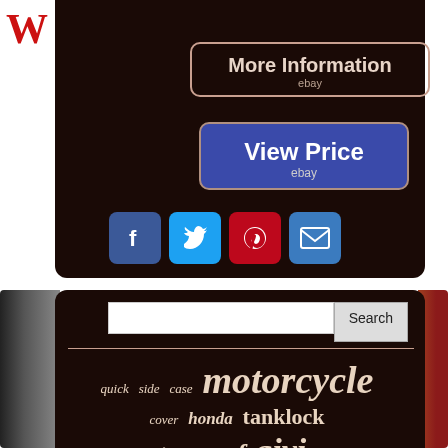W
[Figure (screenshot): More Information button (ebay)]
[Figure (screenshot): View Price button (ebay)]
[Figure (infographic): Social media icons: Facebook, Twitter, Pinterest, Email]
[Figure (screenshot): Search bar with Search button]
quick side case motorcycle cover honda tanklock waterproof givi litre oxford tail review magnetic luggage